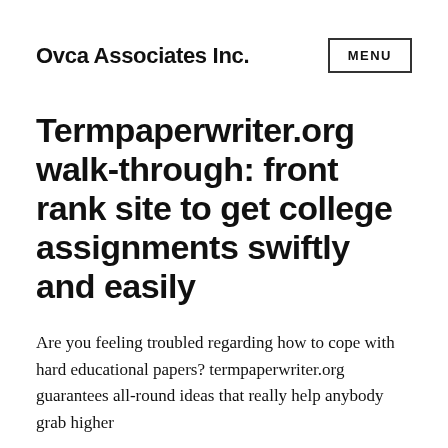Ovca Associates Inc.
Termpaperwriter.org walk-through: front rank site to get college assignments swiftly and easily
Are you feeling troubled regarding how to cope with hard educational papers? termpaperwriter.org guarantees all-round ideas that really help anybody grab higher